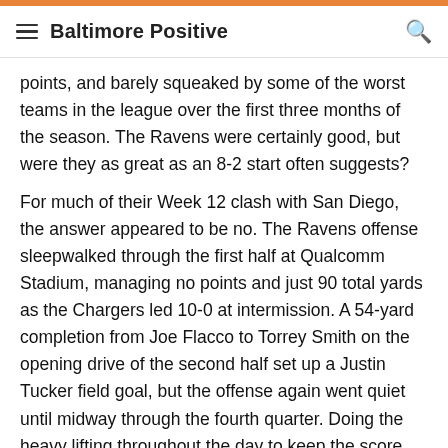Baltimore Positive
points, and barely squeaked by some of the worst teams in the league over the first three months of the season. The Ravens were certainly good, but were they as great as an 8-2 start often suggests?
For much of their Week 12 clash with San Diego, the answer appeared to be no. The Ravens offense sleepwalked through the first half at Qualcomm Stadium, managing no points and just 90 total yards as the Chargers led 10-0 at intermission. A 54-yard completion from Joe Flacco to Torrey Smith on the opening drive of the second half set up a Justin Tucker field goal, but the offense again went quiet until midway through the fourth quarter. Doing the heavy lifting throughout the day to keep the score close, the Baltimore defense surrendered a long drive resulting in a field goal to give San Diego a 13-3 lead with 7:51 remaining in regulation.
The ti...